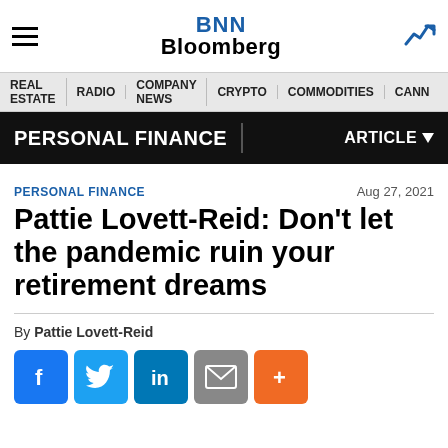[Figure (logo): BNN Bloomberg logo in top navigation bar]
REAL ESTATE | RADIO | COMPANY NEWS | CRYPTO | COMMODITIES | CANN
PERSONAL FINANCE | ARTICLE
PERSONAL FINANCE
Aug 27, 2021
Pattie Lovett-Reid: Don't let the pandemic ruin your retirement dreams
By Pattie Lovett-Reid
[Figure (infographic): Social share buttons: Facebook, Twitter, LinkedIn, Email, More]